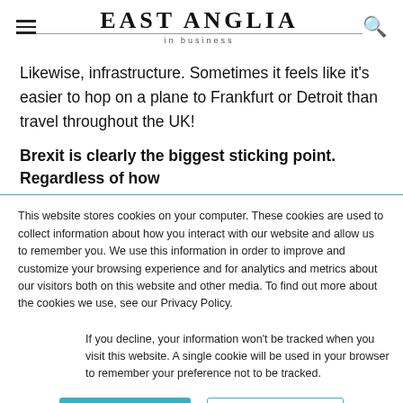EAST ANGLIA in business
Likewise, infrastructure. Sometimes it feels like it's easier to hop on a plane to Frankfurt or Detroit than travel throughout the UK!
Brexit is clearly the biggest sticking point. Regardless of how
This website stores cookies on your computer. These cookies are used to collect information about how you interact with our website and allow us to remember you. We use this information in order to improve and customize your browsing experience and for analytics and metrics about our visitors both on this website and other media. To find out more about the cookies we use, see our Privacy Policy.
If you decline, your information won't be tracked when you visit this website. A single cookie will be used in your browser to remember your preference not to be tracked.